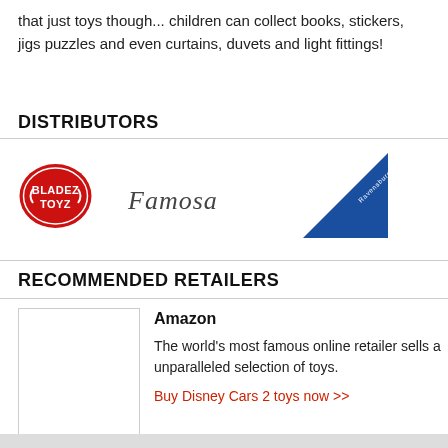that just toys though... children can collect books, stickers, jigs puzzles and even curtains, duvets and light fittings!
DISTRIBUTORS
[Figure (logo): Bladez Toyz logo - red oval with white text]
[Figure (logo): Famosa logo - cursive script text]
[Figure (logo): Ravensburger logo - blue triangle with white text]
RECOMMENDED RETAILERS
[Figure (logo): Amazon retailer image placeholder box]
Amazon
The world's most famous online retailer sells a unparalleled selection of toys.
Buy Disney Cars 2 toys now >>